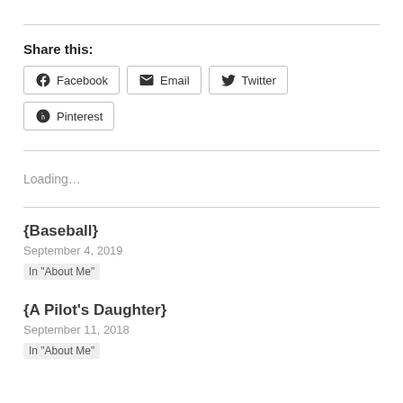Share this:
Facebook | Email | Twitter | Pinterest
Loading…
{Baseball}
September 4, 2019
In "About Me"
{A Pilot's Daughter}
September 11, 2018
In "About Me"